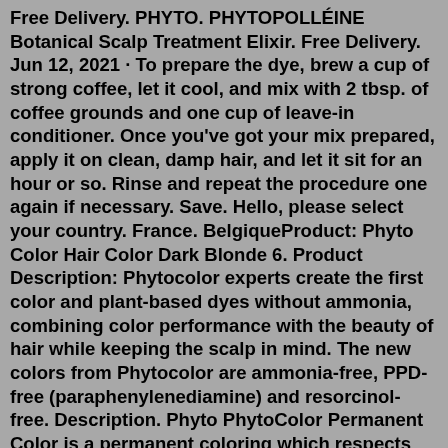Free Delivery. PHYTO. PHYTOPOLLÉINE Botanical Scalp Treatment Elixir. Free Delivery. Jun 12, 2021 · To prepare the dye, brew a cup of strong coffee, let it cool, and mix with 2 tbsp. of coffee grounds and one cup of leave-in conditioner. Once you've got your mix prepared, apply it on clean, damp hair, and let it sit for an hour or so. Rinse and repeat the procedure one again if necessary. Save. Hello, please select your country. France. BelgiqueProduct: Phyto Color Hair Color Dark Blonde 6. Product Description: Phytocolor experts create the first color and plant-based dyes without ammonia, combining color performance with the beauty of hair while keeping the scalp in mind. The new colors from Phytocolor are ammonia-free, PPD-free (paraphenylenediamine) and resorcinol-free. Description. Phyto PhytoColor Permanent Color is a permanent coloring which respects the scalp and the hair fiber. It is enriched with a unique blend of plant pigments from five dye plants selected for their